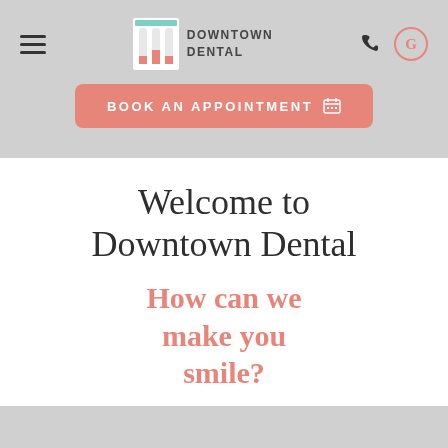[Figure (logo): Downtown Dental logo with tooth/pillar icon and text DOWNTOWN DENTAL]
[Figure (screenshot): Navigation bar with hamburger menu, Downtown Dental logo, phone icon, and Google icon on grey background]
BOOK AN APPOINTMENT
Welcome to Downtown Dental
How can we make you smile?